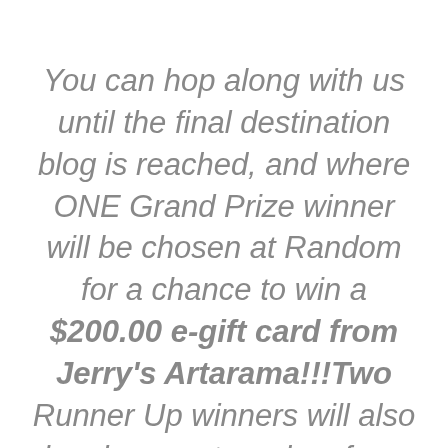You can hop along with us until the final destination blog is reached, and where ONE Grand Prize winner will be chosen at Random for a chance to win a $200.00 e-gift card from Jerry's Artarama!!!Two Runner Up winners will also be chosen at random for a chance to win a $25.00 e-gift card from Jerrys.